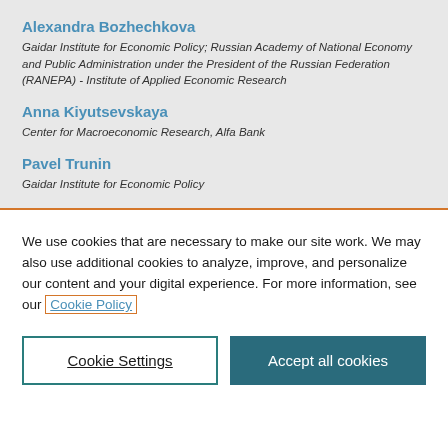Alexandra Bozhechkova
Gaidar Institute for Economic Policy; Russian Academy of National Economy and Public Administration under the President of the Russian Federation (RANEPA) - Institute of Applied Economic Research
Anna Kiyutsevskaya
Center for Macroeconomic Research, Alfa Bank
Pavel Trunin
Gaidar Institute for Economic Policy
We use cookies that are necessary to make our site work. We may also use additional cookies to analyze, improve, and personalize our content and your digital experience. For more information, see our Cookie Policy
Cookie Settings
Accept all cookies